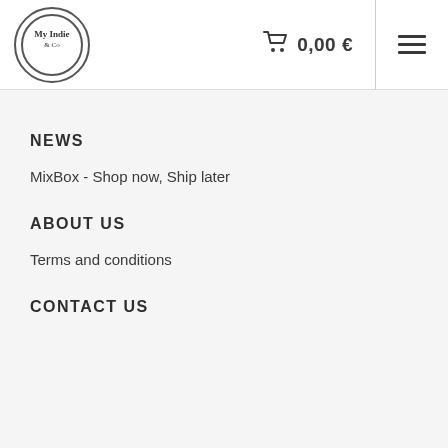My Indie & Co — 0,00 €
NEWS
MixBox - Shop now, Ship later
ABOUT US
Terms and conditions
CONTACT US